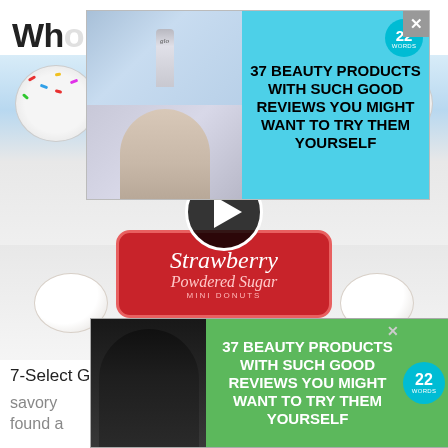Who...n
[Figure (photo): Package of Birthday Cake mini donuts and Strawberry Powdered Sugar mini donuts with a video play button overlay]
[Figure (screenshot): Advertisement banner: 37 BEAUTY PRODUCTS WITH SUCH GOOD REVIEWS YOU MIGHT WANT TO TRY THEM YOURSELF - with photos of nail polish and woman, 22 words badge]
7-Select GO! Yum introduces an indulgent assortment of savory ... ikely found a... Each produc... imagin... ary senso...
[Figure (screenshot): Bottom advertisement: 37 BEAUTY PRODUCTS WITH SUCH GOOD REVIEWS YOU MIGHT WANT TO TRY THEM YOURSELF on green background with woman photo and 22 words badge. CLOSE button overlay.]